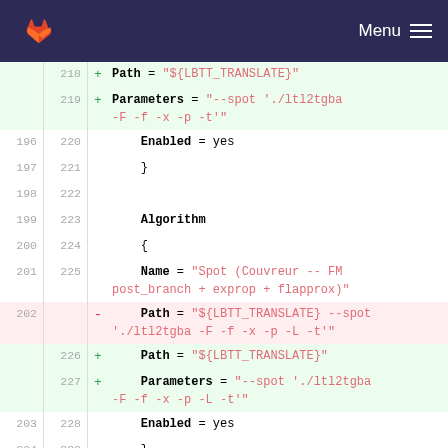Menu
[Figure (screenshot): GitLab diff view showing code changes to a configuration file with added/removed lines for algorithm path parameters]
218 + Path = "${LBTT_TRANSLATE}"
219 + Parameters = "--spot './ltl2tgba -F -f -x -p -t'"
196 220     Enabled = yes
197 221     }
198 222
199 223     Algorithm
200 224     {
201 225     Name = "Spot (Couvreur -- FM post_branch + exprop + flapprox)"
202     - Path = "${LBTT_TRANSLATE} --spot './ltl2tgba -F -f -x -p -L -t'"
    226 +     Path = "${LBTT_TRANSLATE}"
    227 +     Parameters = "--spot './ltl2tgba -F -f -x -p -L -t'"
203 228     Enabled = yes
204 229     }
205 230
206 231     Algorithm
207 232     {